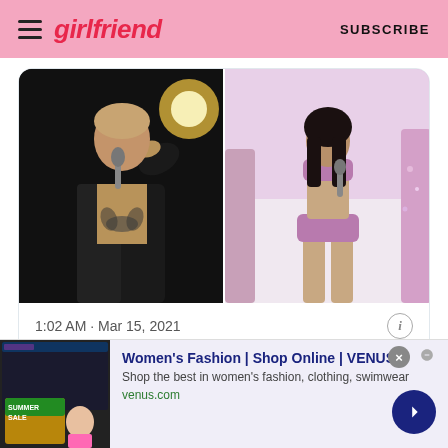girlfriend | SUBSCRIBE
[Figure (screenshot): Embedded tweet showing two images side by side: left image is a man in an open black leather jacket with tattoos on stage; right image shows women in pink/lavender bikini outfits on a runway or stage. Timestamp: 1:02 AM · Mar 15, 2021. Link: Read the full conversation on Twitter. Likes: 389.6K, Reply, Copy link actions.]
[Figure (photo): Ad thumbnail showing a 'SUMMER SALE' promotional image for VENUS women's fashion.]
Women's Fashion | Shop Online | VENUS
Shop the best in women's fashion, clothing, swimwear
venus.com